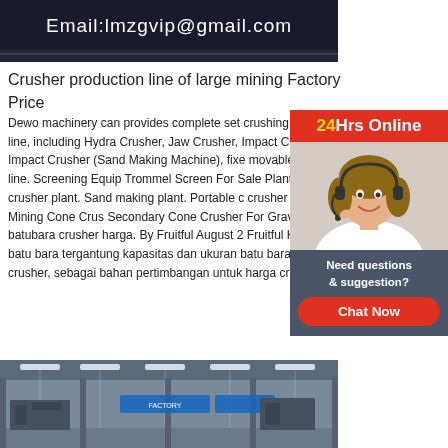[Figure (screenshot): Top banner image showing email address: lmzgvip@gmail.com on dark background]
Crusher production line of large mining Factory Price
Dewo machinery can provides complete set crushing and screening line, including Hydra Crusher, Jaw Crusher, Impact Crusher, Verti Impact Crusher (Sand Making Machine), fixe movable rock crushing line. Screening Equip Trommel Screen For Sale Plant,2021-9-2 · crusher plant. Sand making plant. Portable c crusher plant. Read More Mining Cone Crus Secondary Cone Crusher For Gravel Line. N batubara crusher harga. By Fruitful August 2 Fruitful Harga crusher batu bara tergantung kapasitas dan ukuran batu bara yang akan di crusher, sebagai bahan pertimbangan untuk harga crusher
[Figure (infographic): 24Hrs Online chat widget with customer service representative and Chat Now button]
[Figure (photo): Factory interior image showing industrial manufacturing facility with overhead lights and equipment]